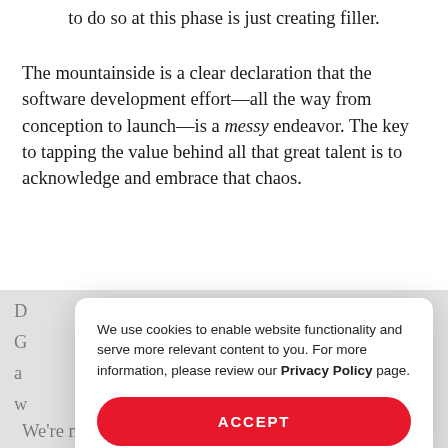to do so at this phase is just creating filler.
The mountainside is a clear declaration that the software development effort—all the way from conception to launch—is a messy endeavor. The key to tapping the value behind all that great talent is to acknowledge and embrace that chaos.
D
G
a
w
t
d
[Figure (other): Cookie consent modal popup with text: 'We use cookies to enable website functionality and serve more relevant content to you. For more information, please review our Privacy Policy page.' and an ACCEPT button.]
We're not trying to reinvent work. We like our